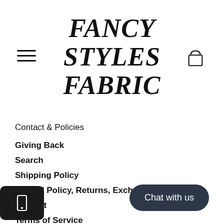[Figure (logo): Hamburger menu icon (three horizontal lines)]
FANCY STYLES FABRIC
[Figure (illustration): Shopping cart / bag icon]
Contact & Policies
Giving Back
Search
Shipping Policy
Refund Policy, Returns, Exchanges
Contact
Terms of Service
Refund policy
[Figure (illustration): Mobile phone icon in dark rounded square overlay]
[Figure (illustration): Chat with us dark pill-shaped button]